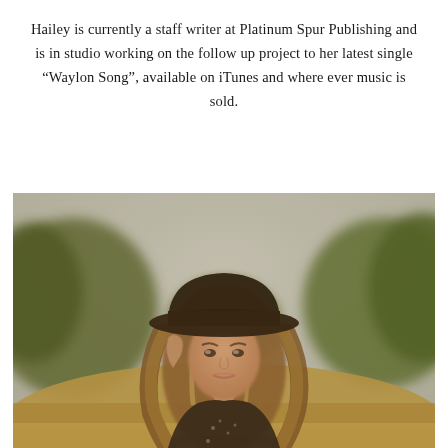Hailey is currently a staff writer at Platinum Spur Publishing and is in studio working on the follow up project to her latest single “Waylon Song”, available on iTunes and where ever music is sold.
[Figure (photo): A young woman with long blonde wavy hair wearing a wide-brim dark hat and a dark embellished top, standing outdoors in a field with soft golden tones and bokeh trees in the background. The photo has a warm vintage/sepia-toned look.]